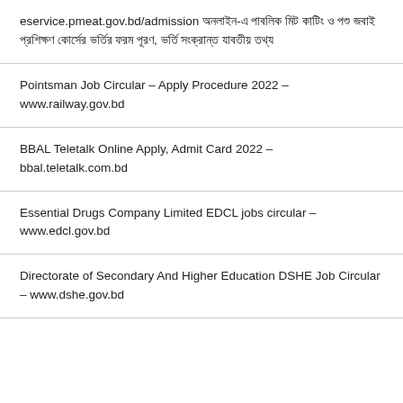eservice.pmeat.gov.bd/admission অনলাইন-এ পাবলিক মিট কাটিং ও পশু জবাই প্রশিক্ষণ কোর্সের ভর্তির ফরম পূরণ, ভর্তি সংক্রান্ত যাবতীয় তথ্য
Pointsman Job Circular – Apply Procedure 2022 – www.railway.gov.bd
BBAL Teletalk Online Apply, Admit Card 2022 – bbal.teletalk.com.bd
Essential Drugs Company Limited EDCL jobs circular – www.edcl.gov.bd
Directorate of Secondary And Higher Education DSHE Job Circular – www.dshe.gov.bd